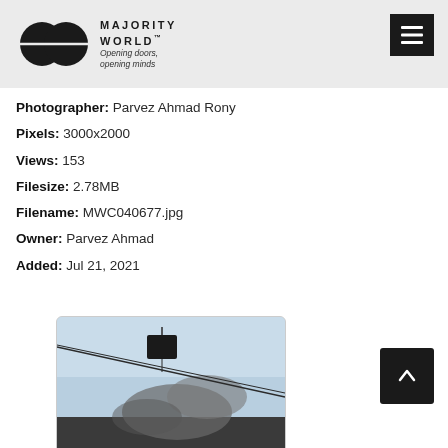[Figure (logo): Majority World logo: two overlapping black circles with a horizontal line, beside the brand name MAJORITY WORLD and tagline Opening doors, opening minds]
MAJORITY WORLD™
Opening doors, opening minds
Photographer: Parvez Ahmad Rony
Pixels: 3000x2000
Views: 153
Filesize: 2.78MB
Filename: MWC040677.jpg
Owner: Parvez Ahmad
Added: Jul 21, 2021
[Figure (photo): Thumbnail photograph showing a cable car or gondola against a light blue sky, with dark smoke rising below from buildings or structures.]